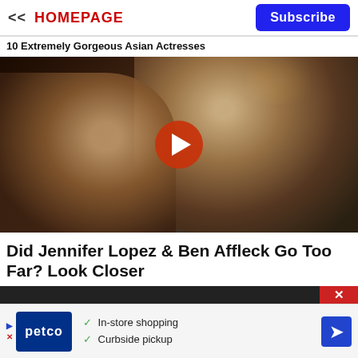<< HOMEPAGE
Subscribe
10 Extremely Gorgeous Asian Actresses
[Figure (photo): Video thumbnail showing two people in an intimate scene; a YouTube-style red play button is overlaid in the center.]
Did Jennifer Lopez & Ben Affleck Go Too Far? Look Closer
[Figure (screenshot): Advertisement for Petco featuring logo, checkmarks for In-store shopping and Curbside pickup, and a blue navigation arrow icon.]